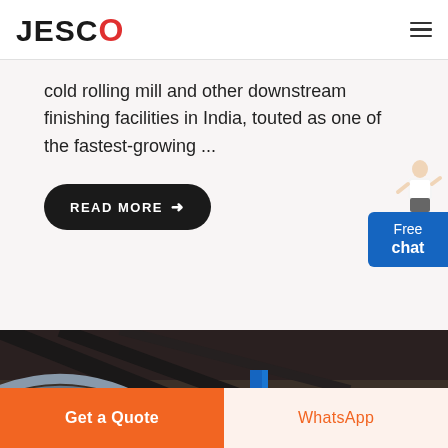JESCO
cold rolling mill and other downstream finishing facilities in India, touted as one of the fastest-growing ...
READ MORE →
[Figure (photo): Industrial facility photo showing machinery and XME signage with green logo]
Get a Quote
WhatsApp